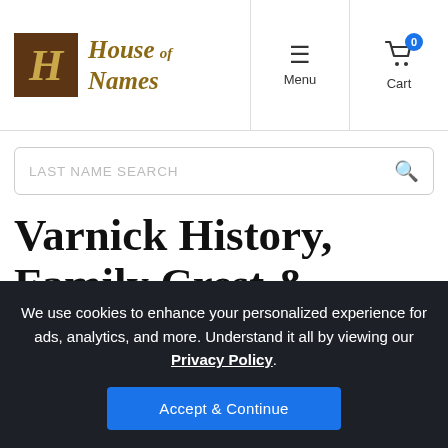[Figure (logo): House of Names logo with gothic H icon and stylized text]
Menu
Cart 0
LAST NAME SEARCH
Varnick History, Family Crest & Coats of Arms
We use cookies to enhance your personalized experience for ads, analytics, and more. Understand it all by viewing our Privacy Policy.
Accept & Continue